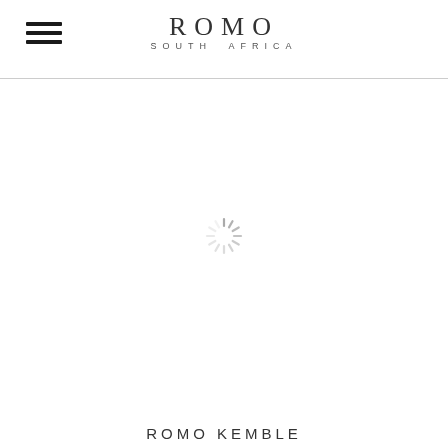ROMO SOUTH AFRICA
[Figure (other): Loading spinner icon — a circular arrangement of radial lines (starburst/sunburst) in light gray, indicating a loading state]
ROMO KEMBLE